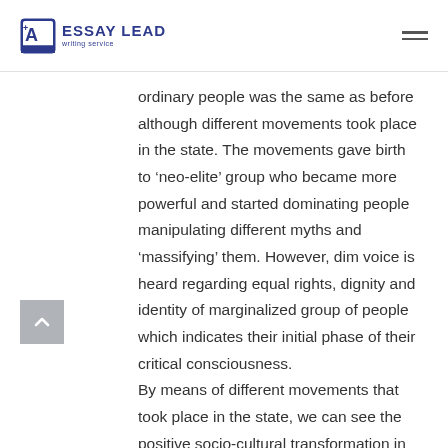ESSAY LEAD writing service
ordinary people was the same as before although different movements took place in the state. The movements gave birth to ‘neo-elite’ group who became more powerful and started dominating people manipulating different myths and ‘massifying’ them. However, dim voice is heard regarding equal rights, dignity and identity of marginalized group of people which indicates their initial phase of their critical consciousness. By means of different movements that took place in the state, we can see the positive socio-cultural transformation in Nepalese society. Success in throwing different social evils like untouchability, gender discrimination,